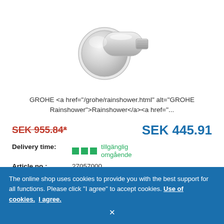[Figure (photo): Chrome shower wall outlet connector fitting, round backplate with cylindrical body and threaded end]
GROHE <a href="/grohe/rainshower.html" alt="GROHE Rainshower">Rainshower</a><a href="...
SEK 955.84*
SEK 445.91
Delivery time: tillgänglig omgående
Article no.: 27057000
ADD TO CART
The online shop uses cookies to provide you with the best support for all functions. Please click "I agree" to accept cookies. Use of cookies. I agree. ×